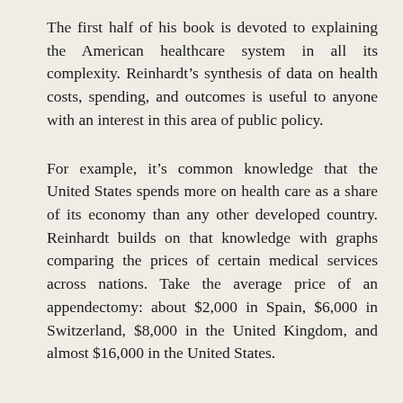The first half of his book is devoted to explaining the American healthcare system in all its complexity. Reinhardt's synthesis of data on health costs, spending, and outcomes is useful to anyone with an interest in this area of public policy.
For example, it's common knowledge that the United States spends more on health care as a share of its economy than any other developed country. Reinhardt builds on that knowledge with graphs comparing the prices of certain medical services across nations. Take the average price of an appendectomy: about $2,000 in Spain, $6,000 in Switzerland, $8,000 in the United Kingdom, and almost $16,000 in the United States.